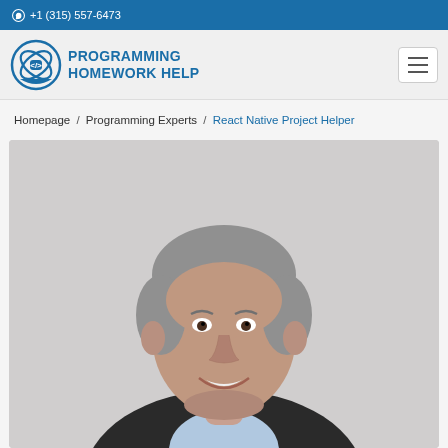+1 (315) 557-6473
[Figure (logo): Programming Homework Help logo with code icon and text]
Homepage / Programming Experts / React Native Project Helper
[Figure (photo): Professional headshot of an older man with grey hair, smiling, wearing a dark jacket]